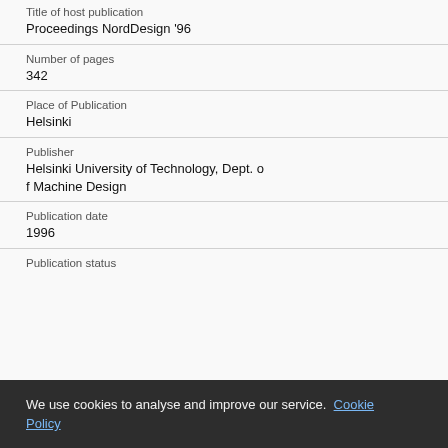Title of host publication
Proceedings NordDesign '96
Number of pages
342
Place of Publication
Helsinki
Publisher
Helsinki University of Technology, Dept. of Machine Design
Publication date
1996
Publication status
We use cookies to analyse and improve our service. Cookie Policy